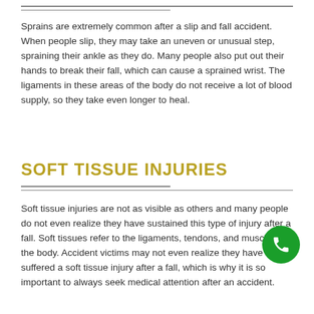Sprains are extremely common after a slip and fall accident. When people slip, they may take an uneven or unusual step, spraining their ankle as they do. Many people also put out their hands to break their fall, which can cause a sprained wrist. The ligaments in these areas of the body do not receive a lot of blood supply, so they take even longer to heal.
SOFT TISSUE INJURIES
Soft tissue injuries are not as visible as others and many people do not even realize they have sustained this type of injury after a fall. Soft tissues refer to the ligaments, tendons, and muscles in the body. Accident victims may not even realize they have suffered a soft tissue injury after a fall, which is why it is so important to always seek medical attention after an accident.